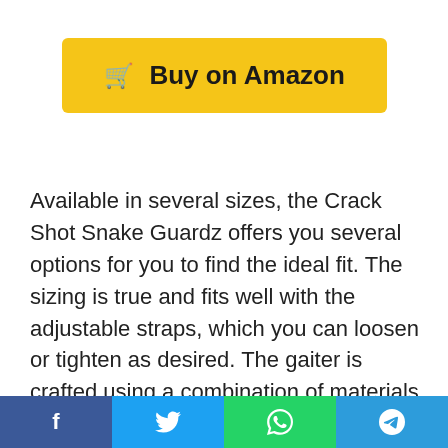[Figure (other): Yellow 'Buy on Amazon' button with shopping cart icon]
Available in several sizes, the Crack Shot Snake Guardz offers you several options for you to find the ideal fit. The sizing is true and fits well with the adjustable straps, which you can loosen or tighten as desired. The gaiter is crafted using a combination of materials including cotton, nylon, and polyester.
And it is complete with a water-repellant coating, making it waterproof for optimal performance. The gaiter has a special design that allows for airflow between the leg of the user and the Snak...
[Figure (infographic): Social share bar with Facebook, Twitter, WhatsApp, and Telegram buttons]